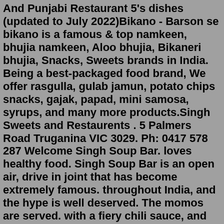And Punjabi Restaurant 5's dishes (updated to July 2022)Bikano - Barson se bikano is a famous & top namkeen, bhujia namkeen, Aloo bhujia, Bikaneri bhujia, Snacks, Sweets brands in India. Being a best-packaged food brand, We offer rasgulla, gulab jamun, potato chips snacks, gajak, papad, mini samosa, syrups, and many more products.Singh Sweets and Restaurents . 5 Palmers Road Truganina VIC 3029. Ph: 0417 578 287 Welcome Singh Soup Bar. loves healthy food. Singh Soup Bar is an open air, drive in joint that has become extremely famous. throughout India, and the hype is well deserved. The momos are served. with a fiery chili sauce, and the soups are really delicious. Welcome Singh Soup Bar. Fresh yogurt mixed with sugar and rose water. Indian Ginger Tea $3.79. Special Indian tea leaves mixed with ginger, sugar and herbs. Indian Masala Tea $3.79. Special Indian tea leaves mixed with ginger, sugar and herbs. Soft Drinks $2.99. Menu for Singh Biryani provided by Allmenus.com. DISCLAIMER: Information shown may not reflect recent ...Rajdhani